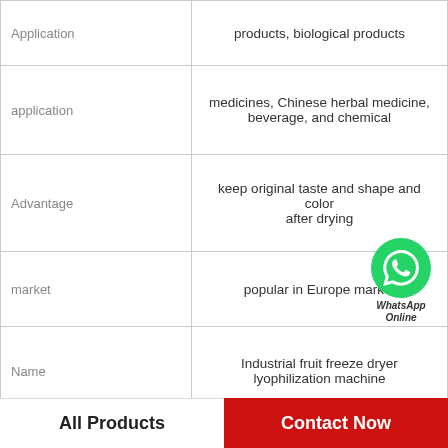| Field | Value |
| --- | --- |
| Application | products, biological products |
| application | medicines, Chinese herbal medicine, beverage, and chemical |
| Advantage | keep original taste and shape and color after drying |
| market | popular in Europe market |
| Name | Industrial fruit freeze dryer lyophilization machine |
| Material | 304 Stainless Steel |
| Function | Drying Food |
| Capacity | Hour |
All Products
Contact Now